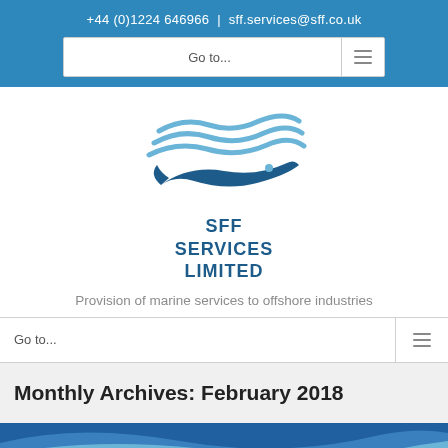+44 (0)1224 646966 | sff.services@sff.co.uk
[Figure (logo): SFF Services Limited logo with stylized fish and wave design]
Provision of marine services to offshore industries
Monthly Archives: February 2018
[Figure (illustration): Blue wave decorative banner at bottom of page]